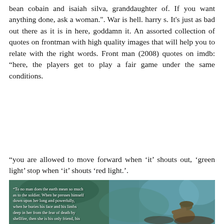bean cobain and isaiah silva, granddaughter of. If you want anything done, ask a woman.". War is hell. harry s. It's just as bad out there as it is in here, goddamn it. An assorted collection of quotes on frontman with high quality images that will help you to relate with the right words. Front man (2008) quotes on imdb: “here, the players get to play a fair game under the same conditions.
“you are allowed to move forward when ‘it’ shouts out, ‘green light’ stop when ‘it’ shouts ‘red light.’.
[Figure (photo): A painting or illustrated image showing a soldier in a war scene with a teal/blue-green background. Overlaid text reads: 'To no man does the earth mean so much as to the soldier. When he presses himself down upon her long and powerfully, when he buries his face and his limbs deep in her from the fear of death by shellfire, then she is his only friend, his']